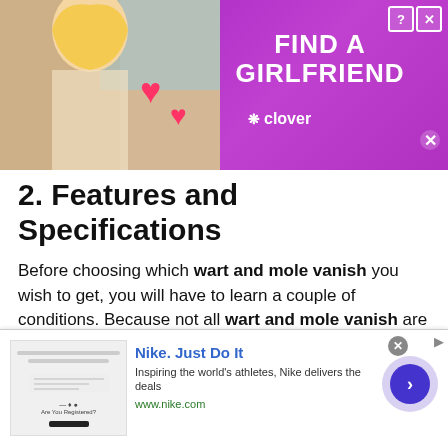[Figure (other): Top banner advertisement with purple background showing a woman and text 'FIND A GIRLFRIEND' with Clover app branding]
2. Features and Specifications
Before choosing which wart and mole vanish you wish to get, you will have to learn a couple of conditions. Because not all wart and mole vanish are made equal. Different machines have different applications. Additionally, they are at different rates.
[Figure (other): Bottom banner advertisement for Nike featuring 'Nike. Just Do It' with tagline and www.nike.com URL, with navigation arrow circle button]